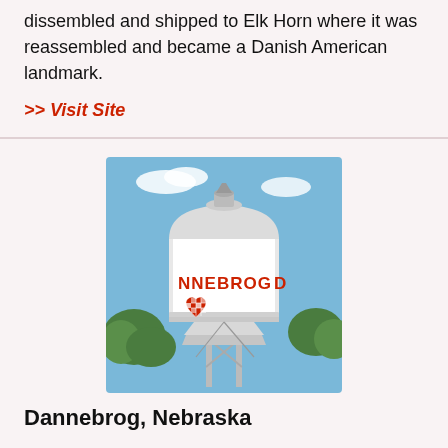dissembled and shipped to Elk Horn where it was reassembled and became a Danish American landmark.
>> Visit Site
[Figure (photo): Photo of a white water tower with 'DANNEBROG' text and a red checkered heart logo painted on it, surrounded by trees against a blue sky.]
Dannebrog, Nebraska